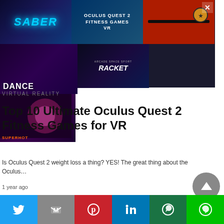[Figure (screenshot): Advertisement banner showing VR game collage: Beat Saber (top-left), Oculus Quest 2 Fitness Games VR text (top-center), ping pong game (top-right), Dance game (bottom-left), Arcade Space Sport Racket (bottom-center), action game (bottom-right). Close X button in top-right corner.]
VIRTUAL REALITY
Top 10 Ultimate Oculus Quest 2 Fitness Games for VR
Is Oculus Quest 2 weight loss a thing?  YES! The great thing about the Oculus…
1 year ago
[Figure (infographic): Social sharing bar with Twitter (blue), Gmail (grey), Pinterest (red), LinkedIn (blue), WhatsApp (dark green), Line (green) buttons]